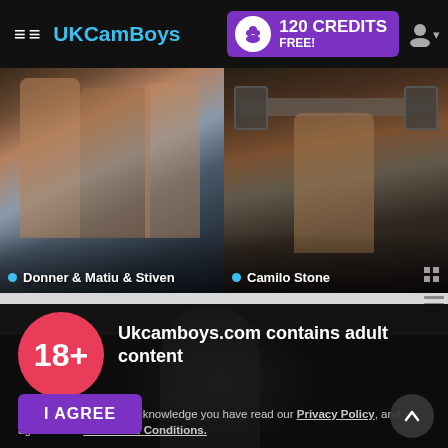UKCamBoys — 120 CREDITS FREE!
[Figure (screenshot): Thumbnail image left: Donner & Matiu & Stiven — three men, fitness theme]
Donner & Matiu & Stiven
[Figure (screenshot): Thumbnail image right: Camilo Stone — man lifting barbell in gym]
Camilo Stone
Ukcamboys.com contains adult content
By using the site, you acknowledge you have read our Privacy Policy, and agree to our Terms and Conditions.
We use cookies to optimize your experience, analyze traffic, and deliver more personalized service. To learn more, please see our Privacy Policy.
I AGREE